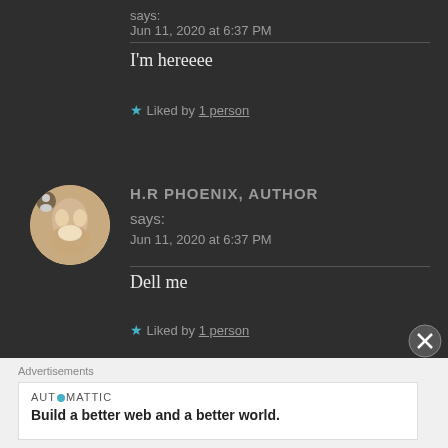says:
Jun 11, 2020 at 6:37 PM
I'm hereeee
★ Liked by 1 person
H.R PHOENIX, AUTHOR says:
Jun 11, 2020 at 6:37 PM
Dell me
★ Liked by 1 person
Advertisements
AUTOMATTIC
Build a better web and a better world.